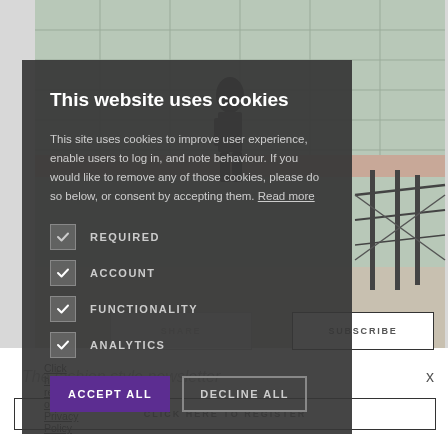[Figure (photo): Background photo of a person standing near decorative green tile wall and metal railing, partially visible behind cookie consent modal]
This website uses cookies
This site uses cookies to improve user experience, enable users to log in, and note behaviour. If you would like to remove any of those cookies, please do so below, or consent by accepting them. Read more
REQUIRED
ACCOUNT
FUNCTIONALITY
ANALYTICS
ACCEPT ALL
DECLINE ALL
Click here to read our Privacy Policy